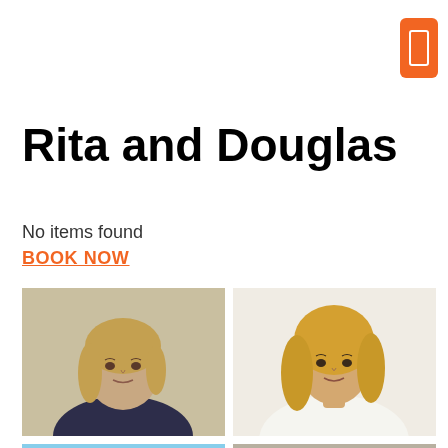[Figure (other): Orange bookmark/button icon in top-right corner]
Rita and Douglas
No items found
BOOK NOW
[Figure (photo): Grid of four portrait photos/illustrations: top-left is a painted portrait of a woman with medium-length hair in dark top; top-right is a photo of a blonde woman in white top; bottom-left is a painted portrait of a person with glasses and light hair; bottom-right is a photo of a bald man in a suit.]